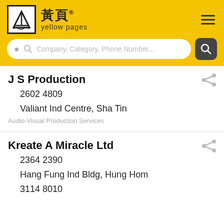[Figure (logo): Yellow Pages Hong Kong logo with Chinese characters 黃頁 and English text 'yellow pages']
Company, Category, Phone Number...
J S Production
2602 4809
Valiant Ind Centre, Sha Tin
Audio-Visual Production Services
Kreate A Miracle Ltd
2364 2390
Hang Fung Ind Bldg, Hung Hom
3114 8010